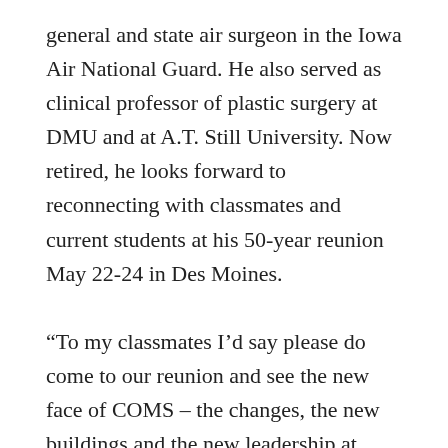general and state air surgeon in the Iowa Air National Guard. He also served as clinical professor of plastic surgery at DMU and at A.T. Still University. Now retired, he looks forward to reconnecting with classmates and current students at his 50-year reunion May 22-24 in Des Moines.

“To my classmates I’d say please do come to our reunion and see the new face of COMS – the changes, the new buildings and the new leadership at DMU,” he says. “Besides having fun, you and your family will see the place that helped us become what we are today. Des Moines is a new city, too – it’s changed for the better as has COMS. There’s no better way to experience it than to